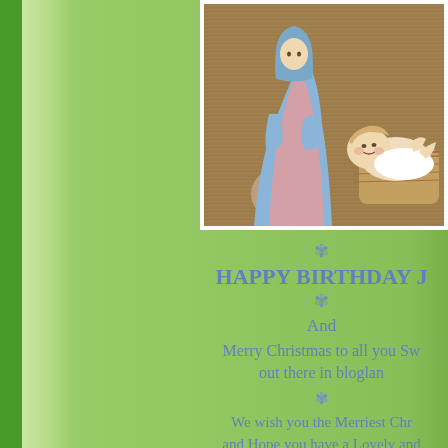[Figure (photo): Photograph of nativity figurines — Mary figure in blue and pink robes, and baby Jesus lying in a manger, on a straw/burlap background]
* HAPPY BIRTHDAY * And Merry Christmas to all you Sweeties out there in blogland * We wish you the Merriest Christmas and Hope you have a Lovely and ... your Family and Frie... *